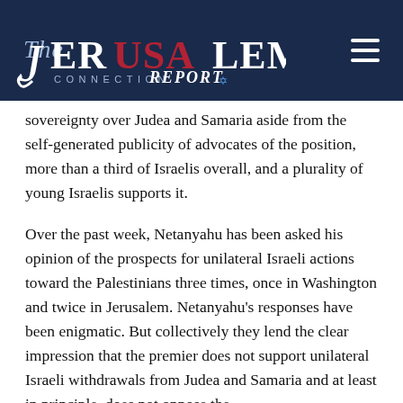[Figure (logo): The Jerusalem Connection Report logo — white text on dark navy background with American flag motif in the letters, hamburger menu icon on right]
sovereignty over Judea and Samaria aside from the self-generated publicity of advocates of the position, more than a third of Israelis overall, and a plurality of young Israelis supports it.
Over the past week, Netanyahu has been asked his opinion of the prospects for unilateral Israeli actions toward the Palestinians three times, once in Washington and twice in Jerusalem. Netanyahu’s responses have been enigmatic. But collectively they lend the clear impression that the premier does not support unilateral Israeli withdrawals from Judea and Samaria and at least in principle, does not oppose the